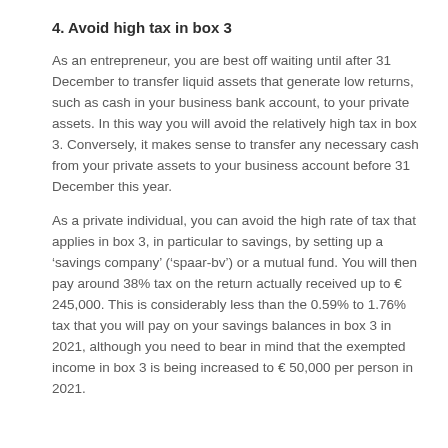4. Avoid high tax in box 3
As an entrepreneur, you are best off waiting until after 31 December to transfer liquid assets that generate low returns, such as cash in your business bank account, to your private assets. In this way you will avoid the relatively high tax in box 3. Conversely, it makes sense to transfer any necessary cash from your private assets to your business account before 31 December this year.
As a private individual, you can avoid the high rate of tax that applies in box 3, in particular to savings, by setting up a ‘savings company’ (‘spaar-bv’) or a mutual fund. You will then pay around 38% tax on the return actually received up to € 245,000. This is considerably less than the 0.59% to 1.76% tax that you will pay on your savings balances in box 3 in 2021, although you need to bear in mind that the exempted income in box 3 is being increased to € 50,000 per person in 2021.